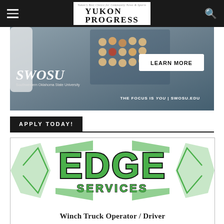Yukon Progress
[Figure (photo): SWOSU advertisement banner showing a person handling pills/capsules in a lab setting, with SWOSU logo (Southwestern Oklahoma State University), a 'LEARN MORE' button, and tagline 'THE FOCUS IS YOU | SWOSU.EDU']
APPLY TODAY!
[Figure (logo): Edge Services logo — stylized bold green and black lettering with angular decorative elements]
Winch Truck Operator / Driver